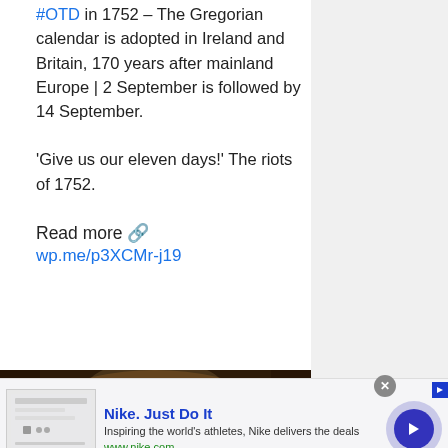#OTD in 1752 – The Gregorian calendar is adopted in Ireland and Britain, 170 years after mainland Europe | 2 September is followed by 14 September.
'Give us our eleven days!' The riots of 1752.
Read more 🔗 wp.me/p3XCMr-j19
[Figure (illustration): Historical painting showing a large gathering of people seated around a feast table, in baroque style, with rich colors of red, orange, blue and brown.]
[Figure (screenshot): Advertisement banner for Nike. Just Do It — Inspiring the world's athletes, Nike delivers the deals. www.nike.com]